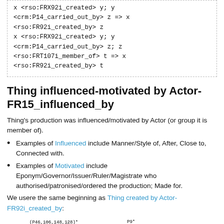x <rso:FRX92i_created> y; y <crm:P14_carried_out_by> z => x <rso:FR92i_created_by> z
x <rso:FRX92i_created> y; y <crm:P14_carried_out_by> z; z <rso:FRT107i_member_of> t => x <rso:FR92i_created_by> t
Thing influenced-motivated by Actor-FR15_influenced_by
Thing's production was influenced/motivated by Actor (or group it is member of).
Examples of Influenced include Manner/Style of, After, Close to, Connected with.
Examples of Motivated include Eponym/Governor/Issuer/Ruler/Magistrate who authorised/patronised/ordered the production; Made for.
We usere the same beginning as Thing created by Actor-FR92i_created_by:
[Figure (flowchart): Flowchart showing nodes: FC70 Thing with self-loop labeled (P46,106,148,128)*, connected by arrow labeled P31i,94i to E11 Modification E65 Creation node with self-loop labeled P9*, connected by P15 arrow to E39 Acto node (partially visible)]